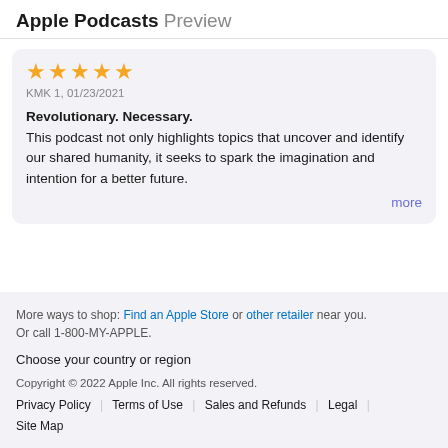Apple Podcasts Preview
KMK 1, 01/23/2021
Revolutionary. Necessary. This podcast not only highlights topics that uncover and identify our shared humanity, it seeks to spark the imagination and intention for a better future.
more
More ways to shop: Find an Apple Store or other retailer near you. Or call 1-800-MY-APPLE.
Choose your country or region
Copyright © 2022 Apple Inc. All rights reserved. Privacy Policy | Terms of Use | Sales and Refunds | Legal | Site Map